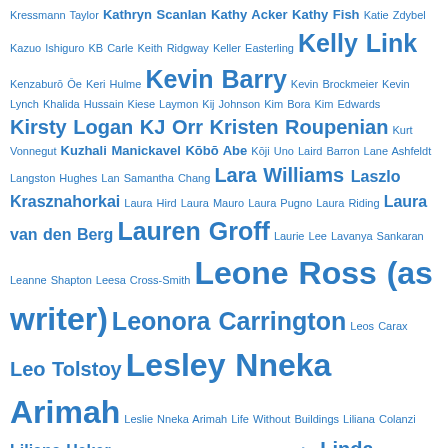Kressmann Taylor Kathryn Scanlan Kathy Acker Kathy Fish Katie Zdybel Kazuo Ishiguro KB Carle Keith Ridgway Keller Easterling Kelly Link Kenzaburō Ōe Keri Hulme Kevin Barry Kevin Brockmeier Kevin Lynch Khalida Hussain Kiese Laymon Kij Johnson Kim Bora Kim Edwards Kirsty Logan KJ Orr Kristen Roupenian Kurt Vonnegut Kuzhali Manickavel Kōbō Abe Kōji Uno Laird Barron Lane Ashfeldt Langston Hughes Lan Samantha Chang Lara Williams Laszlo Krasznahorkai Laura Hird Laura Mauro Laura Pugno Laura Riding Laura van den Berg Lauren Groff Laurie Lee Lavanya Sankaran Leanne Shapton Leesa Cross-Smith Leone Ross (as writer) Leonora Carrington Leos Carax Leo Tolstoy Lesley Nneka Arimah Leslie Nneka Arimah Life Without Buildings Liliana Colanzi Liliana Heker Lina Meruane Linda Boström Knausgård Linda Mannheim (as writer) Lisa Moore Lisa Natalie Pearson Livia Llewellyn Lloyd Jones Lore Segal Lorrie Moore Louis Auchincloss Louis Couperus Louise Erdrich Louise Tondeur Lucia Berlin Lucie McKnight Hardy Lucy Caldwell Lucy Clifford Lucy Durneen Lucy Wood Ludwig Tieck